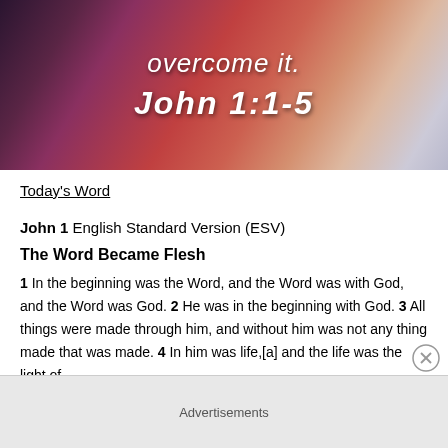[Figure (illustration): Banner image with abstract painted background in purple, red, coral and white tones with italic white text reading 'overcome it.' and 'John 1:1-5']
Today's Word
John 1 English Standard Version (ESV)
The Word Became Flesh
1 In the beginning was the Word, and the Word was with God, and the Word was God. 2 He was in the beginning with God. 3 All things were made through him, and without him was not any thing made that was made. 4 In him was life,[a] and the life was the light of
Advertisements